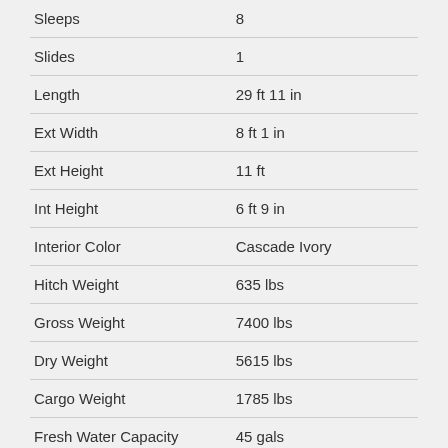| Attribute | Value |
| --- | --- |
| Sleeps | 8 |
| Slides | 1 |
| Length | 29 ft 11 in |
| Ext Width | 8 ft 1 in |
| Ext Height | 11 ft |
| Int Height | 6 ft 9 in |
| Interior Color | Cascade Ivory |
| Hitch Weight | 635 lbs |
| Gross Weight | 7400 lbs |
| Dry Weight | 5615 lbs |
| Cargo Weight | 1785 lbs |
| Fresh Water Capacity | 45 gals |
| Grey Water Capacity | 58 gals |
| Black Water Capacity | 29 gals |